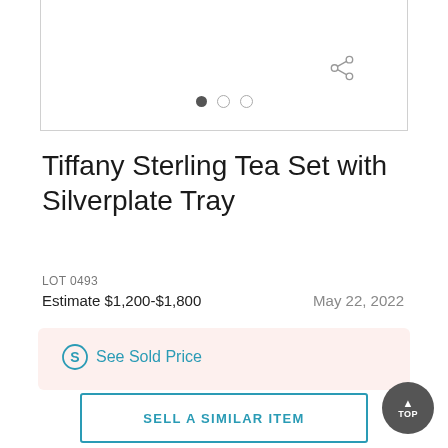[Figure (other): Image carousel area with navigation dots and share icon. Three dots shown: first filled (active), two empty circles. Share icon top right.]
Tiffany Sterling Tea Set with Silverplate Tray
LOT 0493
Estimate $1,200-$1,800    May 22, 2022
See Sold Price
SELL A SIMILAR ITEM